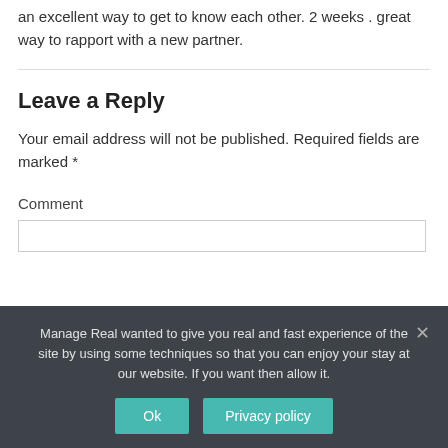an excellent way to get to know each other. 2 weeks . great way to rapport with a new partner.
Leave a Reply
Your email address will not be published. Required fields are marked *
Comment
Manage Real wanted to give you real and fast experience of the site by using some techniques so that you can enjoy your stay at our website. If you want then allow it.